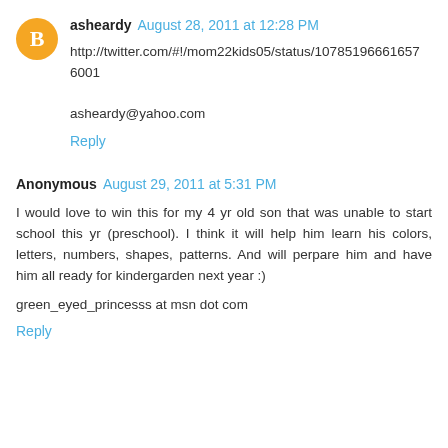asheardy  August 28, 2011 at 12:28 PM
http://twitter.com/#!/mom22kids05/status/107851966661657 6001

asheardy@yahoo.com
Reply
Anonymous  August 29, 2011 at 5:31 PM
I would love to win this for my 4 yr old son that was unable to start school this yr (preschool). I think it will help him learn his colors, letters, numbers, shapes, patterns. And will perpare him and have him all ready for kindergarden next year :)
green_eyed_princesss at msn dot com
Reply